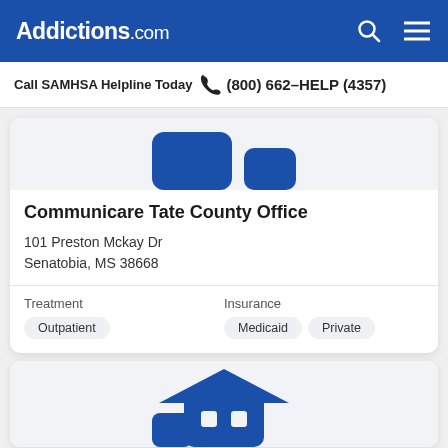Addictions.com
Call SAMHSA Helpline Today (800) 662-HELP (4357)
[Figure (logo): Partial facility logo icon in blue on light gray background, top of card]
Communicare Tate County Office
101 Preston Mckay Dr
Senatobia, MS 38668
Treatment: Outpatient | Insurance: Medicaid, Private
[Figure (logo): Partial facility logo icon in blue on light gray background, second card (partially visible)]